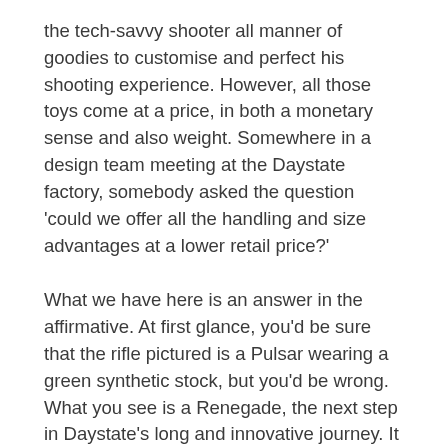the tech-savvy shooter all manner of goodies to customise and perfect his shooting experience. However, all those toys come at a price, in both a monetary sense and also weight. Somewhere in a design team meeting at the Daystate factory, somebody asked the question 'could we offer all the handling and size advantages at a lower retail price?'
What we have here is an answer in the affirmative. At first glance, you'd be sure that the rifle pictured is a Pulsar wearing a green synthetic stock, but you'd be wrong. What you see is a Renegade, the next step in Daystate's long and innovative journey. It seemed logical to me when they developed the Wolverine chassis that it would become the base for the next generation of rifles, and it's clear that this is the case. In my opinion, the impressive design features that action contains make it the most technologically advanced in